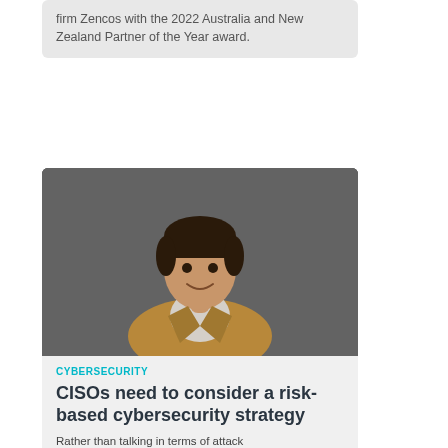firm Zencos with the 2022 Australia and New Zealand Partner of the Year award.
[Figure (photo): Portrait photograph of a man in a tan blazer smiling, against a dark gray background]
CYBERSECURITY
CISOs need to consider a risk-based cybersecurity strategy
Rather than talking in terms of attack